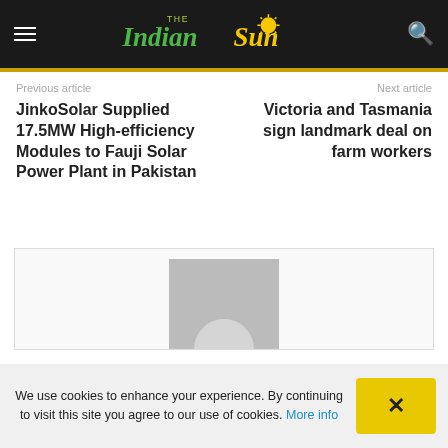The Indian Sun
Previous article
Next article
JinkoSolar Supplied 17.5MW High-efficiency Modules to Fauji Solar Power Plant in Pakistan
Victoria and Tasmania sign landmark deal on farm workers
[Figure (photo): Avatar placeholder image with grey background and white circle silhouette]
We use cookies to enhance your experience. By continuing to visit this site you agree to our use of cookies. More info